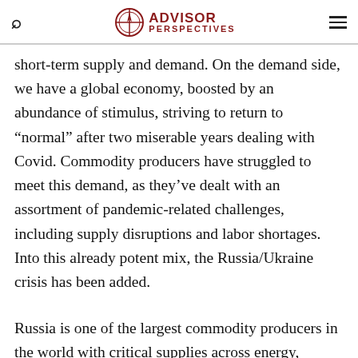ADVISOR PERSPECTIVES
short-term supply and demand. On the demand side, we have a global economy, boosted by an abundance of stimulus, striving to return to “normal” after two miserable years dealing with Covid. Commodity producers have struggled to meet this demand, as they’ve dealt with an assortment of pandemic-related challenges, including supply disruptions and labor shortages. Into this already potent mix, the Russia/Ukraine crisis has been added.
Russia is one of the largest commodity producers in the world with critical supplies across energy,